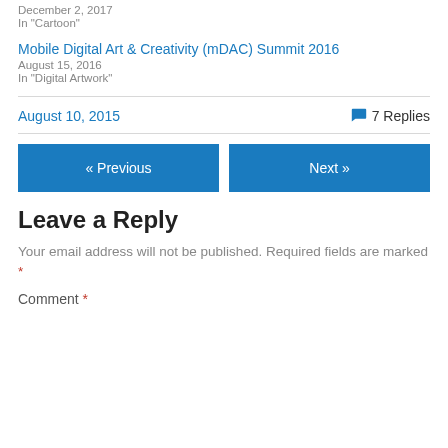December 2, 2017
In "Cartoon"
Mobile Digital Art & Creativity (mDAC) Summit 2016
August 15, 2016
In "Digital Artwork"
August 10, 2015
7 Replies
« Previous
Next »
Leave a Reply
Your email address will not be published. Required fields are marked *
Comment *